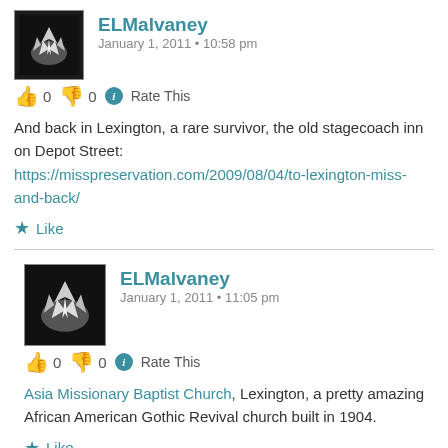ELMalvaney
January 1, 2011 • 10:58 pm
0  0  Rate This
And back in Lexington, a rare survivor, the old stagecoach inn on Depot Street: https://misspreservation.com/2009/08/04/to-lexington-miss-and-back/
Like
ELMalvaney
January 1, 2011 • 11:05 pm
0  0  Rate This
Asia Missionary Baptist Church, Lexington, a pretty amazing African American Gothic Revival church built in 1904.
Like